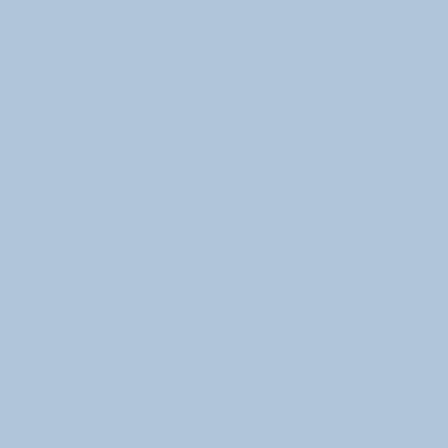[Figure (illustration): Light blue/steel blue rectangular panel occupying the left portion of the page]
0198011106 Head for the Gol
0103090106 Moonlight Skate
0107040158 True Heroes Tog
2307042106 A Fun Time on th